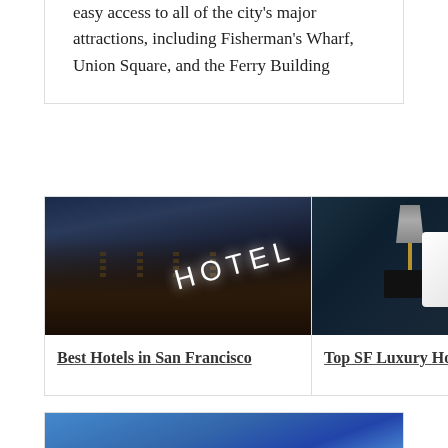easy access to all of the city's major attractions, including Fisherman's Wharf, Union Square, and the Ferry Building
[Figure (photo): Night photo of a hotel building exterior with illuminated HOTEL sign letters on the facade against dark blue sky]
Best Hotels in San Francisco
[Figure (photo): Hotel room interior showing a bedside table with a lamp and a glass bottle, white pillow, and dark teal wall background]
Top SF Luxury Hote...
[Figure (photo): Blue sky with clouds, partially visible at the bottom of the page]